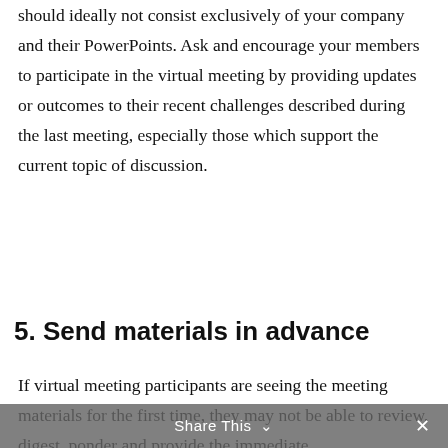should ideally not consist exclusively of your company and their PowerPoints. Ask and encourage your members to participate in the virtual meeting by providing updates or outcomes to their recent challenges described during the last meeting, especially those which support the current topic of discussion.
5. Send materials in advance
If virtual meeting participants are seeing the meeting materials for the first time, they may not be able to review, digest, ponder and provide the immediate
Share This ∨  ×